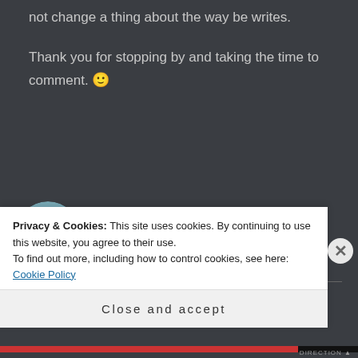not change a thing about the way be writes.
Thank you for stopping by and taking the time to comment. 🙂
JOHNCOYOTE says: May 23, 2014 at 10:51 pm
Privacy & Cookies: This site uses cookies. By continuing to use this website, you agree to their use. To find out more, including how to control cookies, see here: Cookie Policy
Close and accept